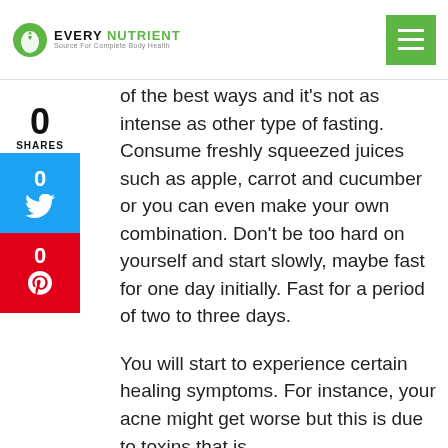EVERY NUTRIENT — Source for Complete Body Health
of the best ways and it's not as intense as other type of fasting. Consume freshly squeezed juices such as apple, carrot and cucumber or you can even make your own combination. Don't be too hard on yourself and start slowly, maybe fast for one day initially. Fast for a period of two to three days.
You will start to experience certain healing symptoms. For instance, your acne might get worse but this is due to toxins that is